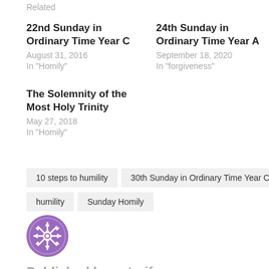Related
22nd Sunday in Ordinary Time Year C
August 31, 2016
In "Homily"
24th Sunday in Ordinary Time Year A
September 18, 2020
In "forgiveness"
The Solemnity of the Most Holy Trinity
May 27, 2018
In "Homily"
10 steps to humility
30th Sunday in Ordinary Time Year C
humility
Sunday Homily
[Figure (logo): Purple circular logo/avatar icon with geometric snowflake or compass pattern in white]
Published by peterjfonseca